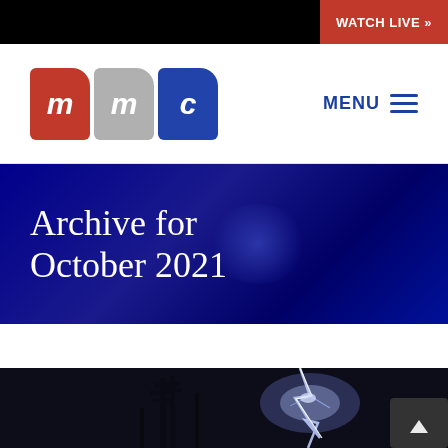WATCH LIVE »
[Figure (logo): MMC logo with three blocks: red 'm', gray 'm', blue 'c' with rounded corners]
MENU ≡
Archive for October 2021
[Figure (photo): Night-time lightning strike photo with tree silhouettes]